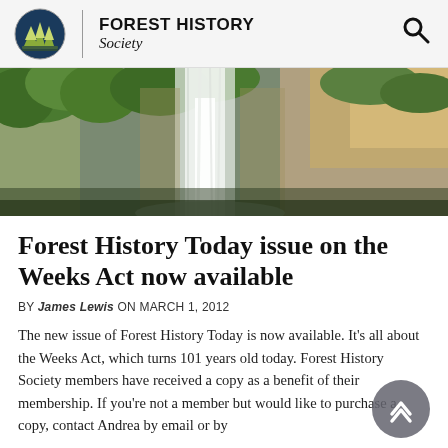FOREST HISTORY Society
[Figure (photo): Wide panoramic banner photo of a waterfall cascading over rocky cliffs surrounded by lush green trees and forest vegetation.]
Forest History Today issue on the Weeks Act now available
BY James Lewis ON MARCH 1, 2012
The new issue of Forest History Today is now available. It's all about the Weeks Act, which turns 101 years old today. Forest History Society members have received a copy as a benefit of their membership. If you're not a member but would like to purchase a copy, contact Andrea by email or by [phone]